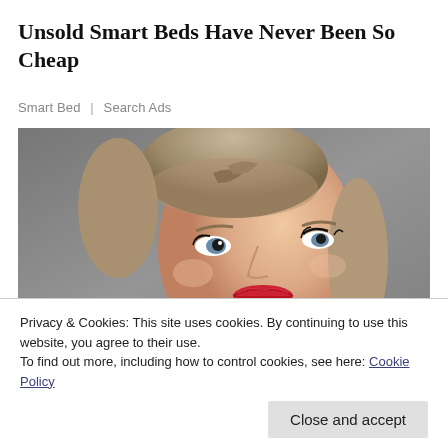Unsold Smart Beds Have Never Been So Cheap
Smart Bed | Search Ads
[Figure (photo): Portrait photo of a young blonde woman with red lips looking upward, against a grey textured background.]
Privacy & Cookies: This site uses cookies. By continuing to use this website, you agree to their use.
To find out more, including how to control cookies, see here: Cookie Policy
Close and accept